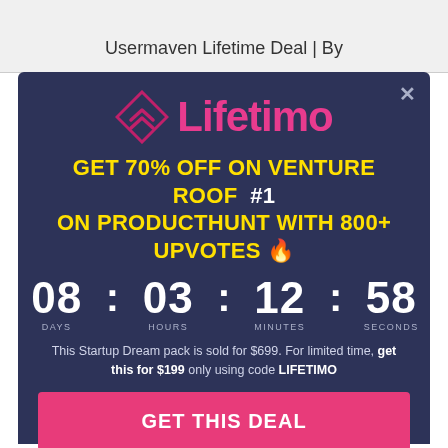Usermaven Lifetime Deal | By
[Figure (screenshot): Lifetimo promotional modal popup on a dark navy/blue background. Shows the Lifetimo logo (pink diamond icon with chevrons), magenta brand name, yellow bold promo text 'GET 70% OFF ON VENTURE ROOF #1 ON PRODUCTHUNT with 800+ UPVOTES', a countdown timer showing 08:03:12:58 (days, hours, minutes, seconds), description text about a $699 deal available for $199 with code LIFETIMO, a pink CTA button 'GET THIS DEAL', and a 'No Thank You' link.]
GET 70% OFF ON VENTURE ROOF  #1 ON PRODUCTHUNT with 800+ UPVOTES 🔥
08 : 03 : 12 : 58
This Startup Dream pack is sold for $699. For limited time, get this for $199 only using code LIFETIMO
GET THIS DEAL
No Thank You